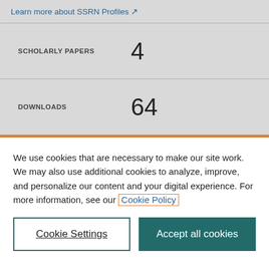Learn more about SSRN Profiles ↗
| SCHOLARLY PAPERS | 4 |
| DOWNLOADS | 64 |
We use cookies that are necessary to make our site work. We may also use additional cookies to analyze, improve, and personalize our content and your digital experience. For more information, see our Cookie Policy
Cookie Settings
Accept all cookies